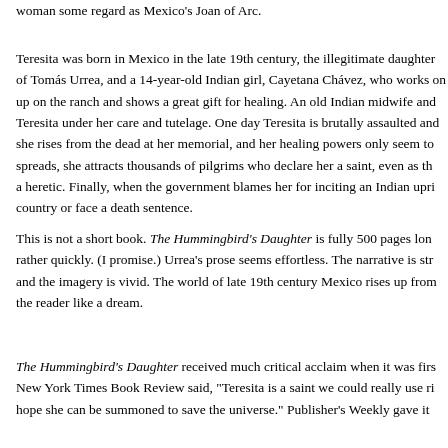woman some regard as Mexico's Joan of Arc.
Teresita was born in Mexico in the late 19th century, the illegitimate daughter of Tomás Urrea, and a 14-year-old Indian girl, Cayetana Chávez, who works on up on the ranch and shows a great gift for healing. An old Indian midwife and Teresita under her care and tutelage. One day Teresita is brutally assaulted and she rises from the dead at her memorial, and her healing powers only seem to spreads, she attracts thousands of pilgrims who declare her a saint, even as th a heretic. Finally, when the government blames her for inciting an Indian upri country or face a death sentence.
This is not a short book. The Hummingbird's Daughter is fully 500 pages lon rather quickly. (I promise.) Urrea's prose seems effortless. The narrative is str and the imagery is vivid. The world of late 19th century Mexico rises up from the reader like a dream.
The Hummingbird's Daughter received much critical acclaim when it was firs New York Times Book Review said, "Teresita is a saint we could really use ri hope she can be summoned to save the universe." Publisher's Weekly gave it